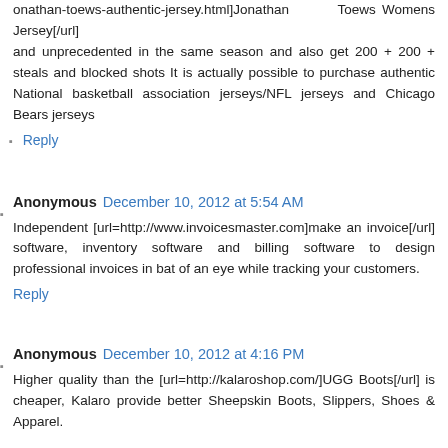onathan-toews-authentic-jersey.html]Jonathan Toews Womens Jersey[/url] and unprecedented in the same season and also get 200 + 200 + steals and blocked shots It is actually possible to purchase authentic National basketball association jerseys/NFL jerseys and Chicago Bears jerseys
Reply
Anonymous December 10, 2012 at 5:54 AM
Independent [url=http://www.invoicesmaster.com]make an invoice[/url] software, inventory software and billing software to design professional invoices in bat of an eye while tracking your customers.
Reply
Anonymous December 10, 2012 at 4:16 PM
Higher quality than the [url=http://kalaroshop.com/]UGG Boots[/url] is cheaper, Kalaro provide better Sheepskin Boots, Slippers, Shoes & Apparel.